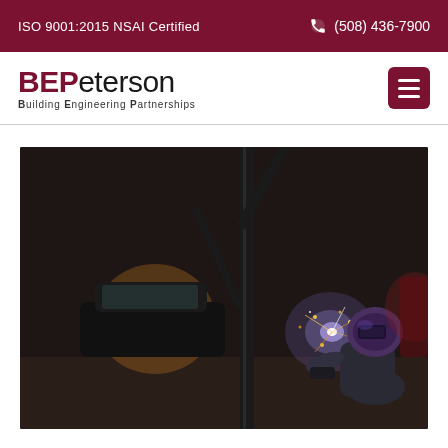ISO 9001:2015 NSAI Certified    (508) 436-7900
[Figure (logo): BEPeterson logo with tagline Building Engineering Partnerships]
[Figure (photo): A welder in a protective helmet welding metal in a dark industrial environment with sparks flying, car headlights visible in background]